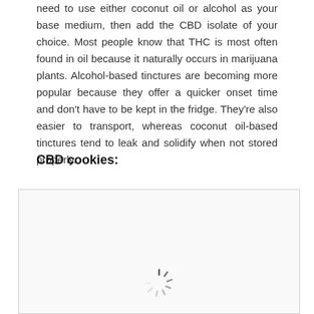need to use either coconut oil or alcohol as your base medium, then add the CBD isolate of your choice. Most people know that THC is most often found in oil because it naturally occurs in marijuana plants. Alcohol-based tinctures are becoming more popular because they offer a quicker onset time and don't have to be kept in the fridge. They're also easier to transport, whereas coconut oil-based tinctures tend to leak and solidify when not stored properly.
CBD cookies:
[Figure (photo): Image placeholder with a loading spinner icon at the bottom center, inside a bordered box with light gray background.]